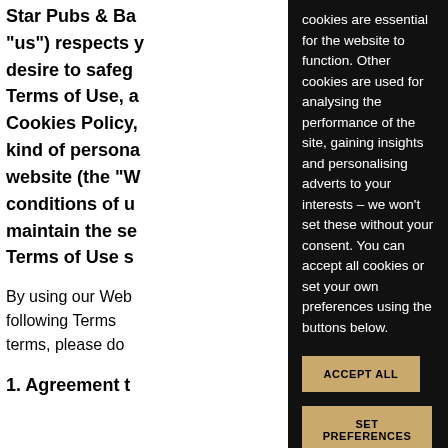Star Pubs & Bar... "us") respects y... desire to safeg... Terms of Use, a... Cookies Policy,... kind of persona... website (the "W... conditions of u... maintain the se... Terms of Use s...
cookies are essential for the website to function. Other cookies are used for analysing the performance of the site, gaining insights and personalising adverts to your interests – we won't set these without your consent. You can accept all cookies or set your own preferences using the buttons below.
ACCEPT ALL
SET PREFERENCES
REJECT ALL
By using our Web... following Terms... terms, please do...
1. Agreement t...